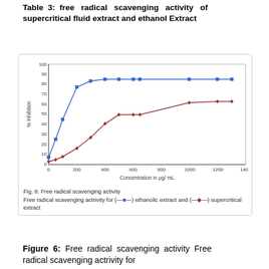Table 3: free radical scavenging activity of supercritical fluid extract and ethanol Extract
[Figure (line-chart): Free radical scavenging activity]
Fig. 6: Free radical scavenging activity
Free radical scavenging actrivity for (— ■ —) ethanolic extract and (— ◆ —) supercritical extract
Figure 6: Free radical scavenging activity Free radical scavenging actrivity for